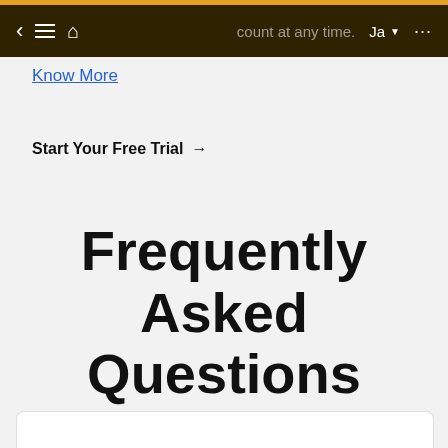account at any time.
Know More
Start Your Free Trial →
Frequently Asked Questions